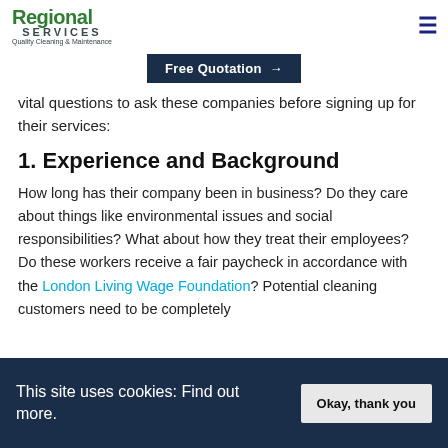Regional Services - Quality Cleaning & Maintenance
Free Quotation →
vital questions to ask these companies before signing up for their services:
1. Experience and Background
How long has their company been in business? Do they care about things like environmental issues and social responsibilities? What about how they treat their employees? Do these workers receive a fair paycheck in accordance with the London Living Wage Foundation? Potential cleaning customers need to be completely
This site uses cookies: Find out more.